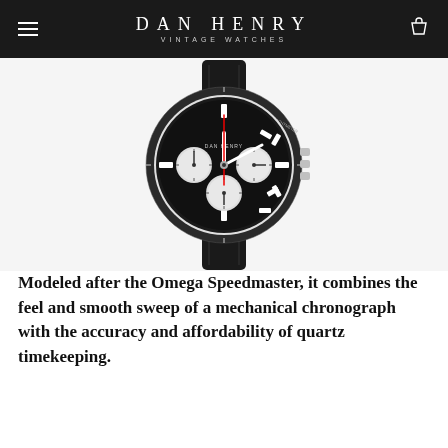DAN HENRY VINTAGE WATCHES
[Figure (photo): A Dan Henry chronograph watch with black dial, tachymeter bezel, three sub-dials, red seconds hand, and black leather strap, photographed on a white background. Modeled after the Omega Speedmaster style.]
Modeled after the Omega Speedmaster, it combines the feel and smooth sweep of a mechanical chronograph with the accuracy and affordability of quartz timekeeping.